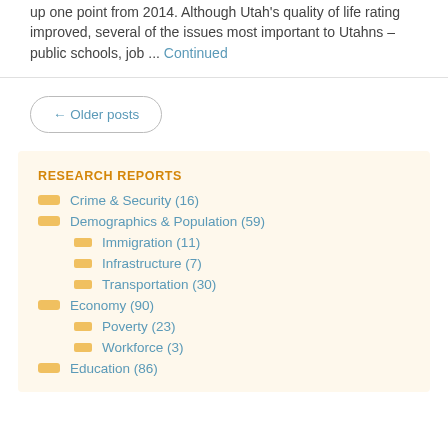up one point from 2014. Although Utah's quality of life rating improved, several of the issues most important to Utahns – public schools, job ... Continued
← Older posts
RESEARCH REPORTS
Crime & Security (16)
Demographics & Population (59)
Immigration (11)
Infrastructure (7)
Transportation (30)
Economy (90)
Poverty (23)
Workforce (3)
Education (86)